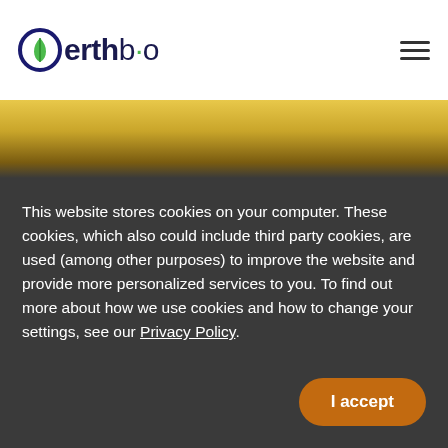[Figure (logo): Oerthbio logo with circular green/blue leaf icon and company name in dark navy text]
[Figure (photo): Golden wheat/grain hero image band]
This website stores cookies on your computer. These cookies, which also could include third party cookies, are used (among other purposes) to improve the website and provide more personalized services to you. To find out more about how we use cookies and how to change your settings, see our Privacy Policy.
I accept